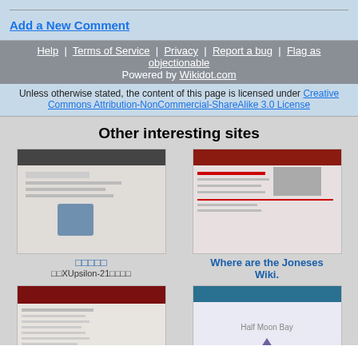Add a New Comment
Help | Terms of Service | Privacy | Report a bug | Flag as objectionable
Powered by Wikidot.com
Unless otherwise stated, the content of this page is licensed under Creative Commons Attribution-NonCommercial-ShareAlike 3.0 License
Other interesting sites
[Figure (screenshot): Thumbnail screenshot of Japanese wiki site]
□□□□□
□□XUpsilon-21□□□□
[Figure (screenshot): Thumbnail screenshot of Where are the Joneses Wiki]
Where are the Joneses Wiki.
[Figure (screenshot): Thumbnail screenshot of Dyslexia Connection site]
Dyslexia Connection
[Figure (screenshot): Thumbnail screenshot of Half Moon Bay Weyr site]
Half Moon Bay Weyr
Join us at paper.mudmagic.com
Port:2211